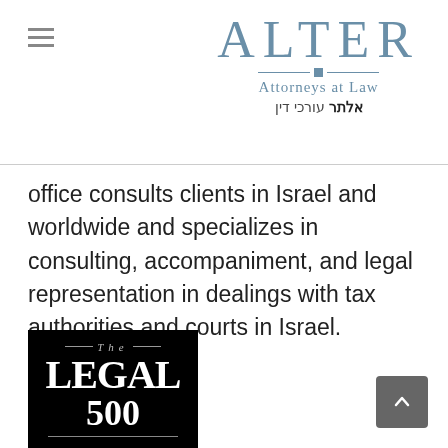ALTER Attorneys at Law - אלתר עורכי דין
office consults clients in Israel and worldwide and specializes in consulting, accompaniment, and legal representation in dealings with tax authorities and courts in Israel.
[Figure (logo): The Legal 500 logo — white serif text on black background, with 'The' in italic above 'LEGAL' in large bold serif and '500' below.]
[Figure (other): Scroll-to-top button, dark grey rounded rectangle with upward chevron arrow in white.]